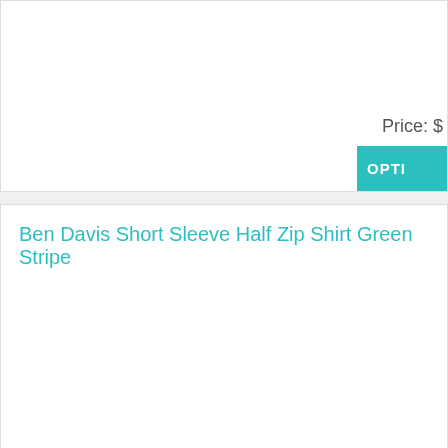Price: $
OPTI
Ben Davis Short Sleeve Half Zip Shirt Green Stripe
Ben Davis short sleeve shirt made of poly/cotton twill, pullover with a half zipper, color green stripe, made in the USA.
Price: $
OPTI